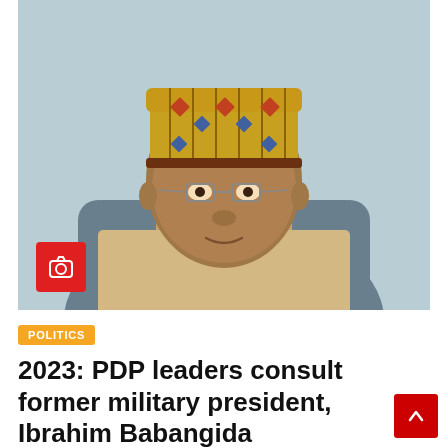[Figure (photo): Portrait photo of Ibrahim Babangida, elderly man wearing a traditional gold and patterned cap and cream traditional attire, seated in a blue chair, looking at the camera with a slight smile. A red camera icon badge appears in the bottom-left of the photo.]
POLITICS
2023: PDP leaders consult former military president, Ibrahim Babangida